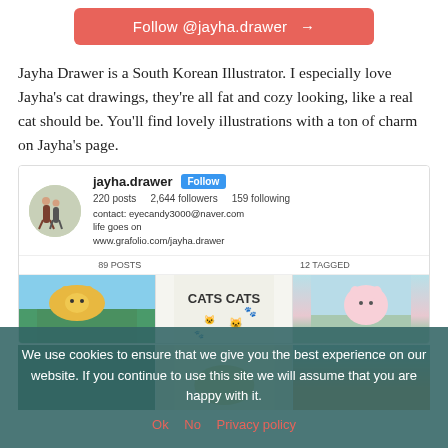[Figure (screenshot): Red/salmon colored Follow @jayha.drawer button with arrow]
Jayha Drawer is a South Korean Illustrator. I especially love Jayha’s cat drawings, they’re all fat and cozy looking, like a real cat should be. You’ll find lovely illustrations with a ton of charm on Jayha’s page.
[Figure (screenshot): Instagram profile screenshot of jayha.drawer showing profile with avatar, 220 posts, 2,644 followers, 159 following, contact info, and a grid of cat illustrations including one saying CATS CATS]
We use cookies to ensure that we give you the best experience on our website. If you continue to use this site we will assume that you are happy with it.
Ok  No  Privacy policy